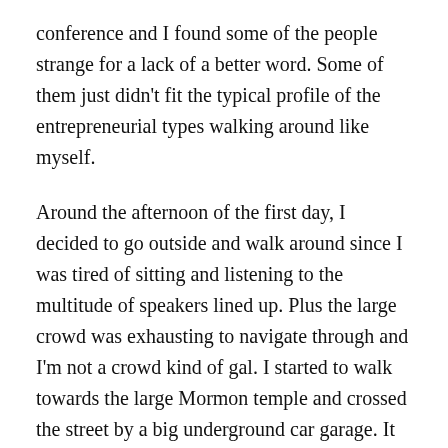conference and I found some of the people strange for a lack of a better word. Some of them just didn't fit the typical profile of the entrepreneurial types walking around like myself.
Around the afternoon of the first day, I decided to go outside and walk around since I was tired of sitting and listening to the multitude of speakers lined up. Plus the large crowd was exhausting to navigate through and I'm not a crowd kind of gal. I started to walk towards the large Mormon temple and crossed the street by a big underground car garage. It had a strange energy to it but I thought, well, this is a new city that I've never been to before so maybe it was more me than the underground garage. As I was walking I saw a young man in a security guard uniform walk quickly towards me. He told me I needed to go immediately and to walk away from the underground parking garage. I saw a black SUV pull up